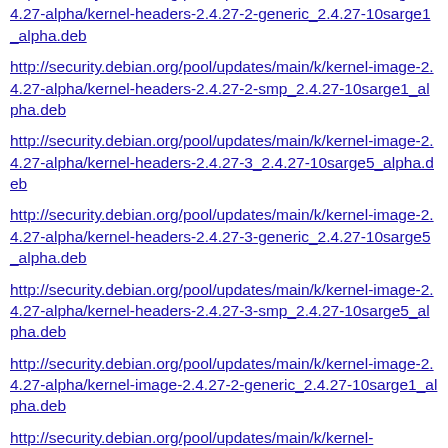http://security.debian.org/pool/updates/main/k/kernel-image-2.4.27-alpha/kernel-headers-2.4.27-2-generic_2.4.27-10sarge1_alpha.deb
http://security.debian.org/pool/updates/main/k/kernel-image-2.4.27-alpha/kernel-headers-2.4.27-2-smp_2.4.27-10sarge1_alpha.deb
http://security.debian.org/pool/updates/main/k/kernel-image-2.4.27-alpha/kernel-headers-2.4.27-3_2.4.27-10sarge5_alpha.deb
http://security.debian.org/pool/updates/main/k/kernel-image-2.4.27-alpha/kernel-headers-2.4.27-3-generic_2.4.27-10sarge5_alpha.deb
http://security.debian.org/pool/updates/main/k/kernel-image-2.4.27-alpha/kernel-headers-2.4.27-3-smp_2.4.27-10sarge5_alpha.deb
http://security.debian.org/pool/updates/main/k/kernel-image-2.4.27-alpha/kernel-image-2.4.27-2-generic_2.4.27-10sarge1_alpha.deb
http://security.debian.org/pool/updates/main/k/kernel-image-2.4.27-alpha/kernel-